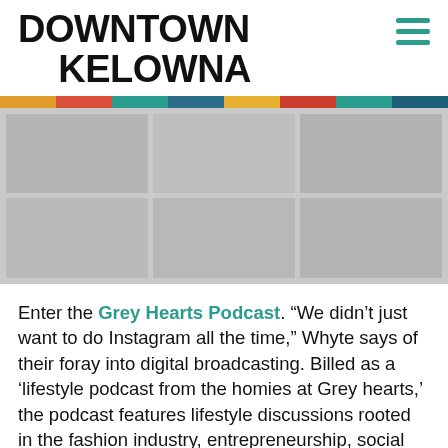DOWNTOWN KELOWNA
[Figure (photo): A grid of photos showing people or lifestyle imagery, displayed in a muted/greyscale placeholder arrangement]
Enter the Grey Hearts Podcast. “We didn’t just want to do Instagram all the time,” Whyte says of their foray into digital broadcasting. Billed as a ‘lifestyle podcast from the homies at Grey hearts,’ the podcast features lifestyle discussions rooted in the fashion industry, entrepreneurship, social